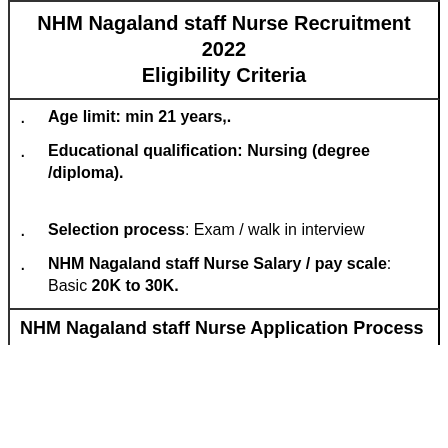NHM Nagaland staff Nurse Recruitment 2022 Eligibility Criteria
Age limit: min 21 years,.
Educational qualification: Nursing (degree /diploma).
Selection process: Exam / walk in interview
NHM Nagaland staff Nurse Salary / pay scale: Basic 20K to 30K.
NHM Nagaland staff Nurse Application Process